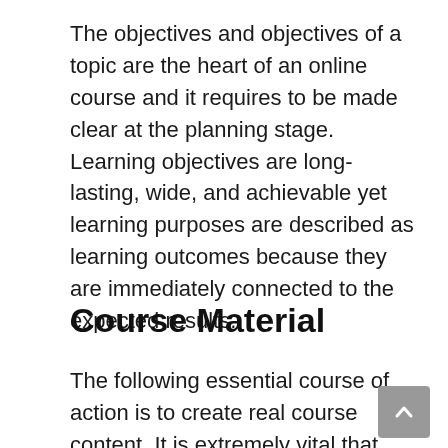The objectives and objectives of a topic are the heart of an online course and it requires to be made clear at the planning stage. Learning objectives are long-lasting, wide, and achievable yet learning purposes are described as learning outcomes because they are immediately connected to the expected results.
Course Material
The following essential course of action is to create real course content. It is extremely vital that where to get the